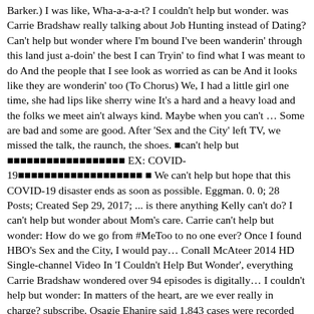Barker.) I was like, Wha-a-a-a-t? I couldn't help but wonder. was Carrie Bradshaw really talking about Job Hunting instead of Dating? Can't help but wonder where I'm bound I've been wanderin' through this land just a-doin' the best I can Tryin' to find what I was meant to do And the people that I see look as worried as can be And it looks like they are wonderin' too (To Chorus) We, I had a little girl one time, she had lips like sherry wine It's a hard and a heavy load and the folks we meet ain't always kind. Maybe when you can't … Some are bad and some are good. After 'Sex and the City' left TV, we missed the talk, the raunch, the shoes. ∎can't help but ∎∎∎∎∎∎∎∎∎∎∎∎∎∎∎∎∎∎ EX: COVID-19∎∎∎∎∎∎∎∎∎∎∎∎∎∎∎∎∎∎∎ ∎ We can't help but hope that this COVID-19 disaster ends as soon as possible. Eggman. 0. 0; 28 Posts; Created Sep 29, 2017; ... is there anything Kelly can't do? I can't help but wonder about Mom's care. Carrie can't help but wonder: How do we go from #MeToo to no one ever? Once I found HBO's Sex and the City, I would pay… Conall McAteer 2014 HD Single-channel Video In 'I Couldn't Help But Wonder', everything Carrie Bradshaw wondered over 94 episodes is digitally… I couldn't help but wonder: In matters of the heart, are we ever really in charge? subscribe. Osagie Ehanire said 1,843 cases were recorded last week compared with 1,235 two weeks ago. as. 'The Last Thing on My Mind', 'Ramblin' Boy', and 'I Can't Help But Wonder Where I'm Bound' all exhibit a classic, timeless appeal simply because they work to the positive side of emotional ennui." You can't help it, but you exhibit undesirable behavior. It's not our part that remains in New York don't ever ch...